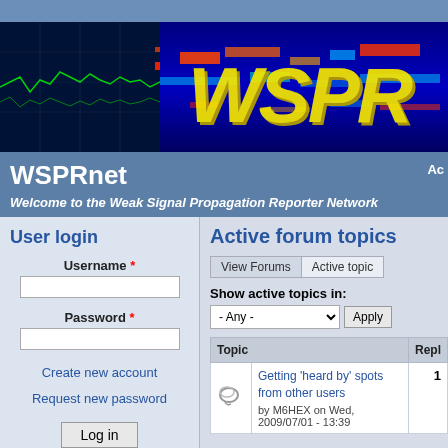[Figure (screenshot): WSPRnet website banner with spectrum waterfall display and large yellow italic WSPR logo text]
WSPRnet
Welcome to the Weak Signal Propagation Reporter Network
User login
Username *
Password *
Create new account
Request new password
Log in
Active forum topics
View Forums | Active topics
Show active topics in:
- Any -
| Topic | Repl |
| --- | --- |
| Getting 'heard by' spots from other users
by M6HEX on Wed, 2009/07/01 - 13:39 | 1 |